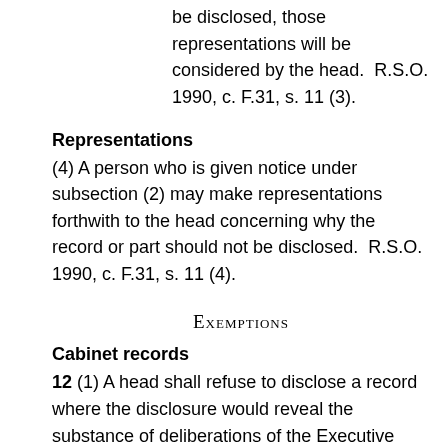be disclosed, those representations will be considered by the head.  R.S.O. 1990, c. F.31, s. 11 (3).
Representations
(4) A person who is given notice under subsection (2) may make representations forthwith to the head concerning why the record or part should not be disclosed.  R.S.O. 1990, c. F.31, s. 11 (4).
EXEMPTIONS
Cabinet records
12 (1) A head shall refuse to disclose a record where the disclosure would reveal the substance of deliberations of the Executive Council or its committees, including,
(a) an agenda, minute or other record of the